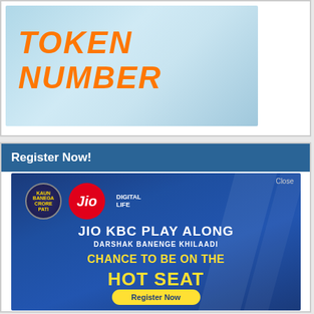[Figure (screenshot): Top banner image with light blue gradient background and orange italic bold text reading TOKEN NUMBER]
Register Now!
[Figure (screenshot): Jio KBC Play Along advertisement banner on blue background. Shows KBC logo and Jio Digital Life logo. Text: JIO KBC PLAY ALONG, DARSHAK BANENGE KHILAADI, CHANCE TO BE ON THE HOT SEAT, Register Now button. Close button at top right.]